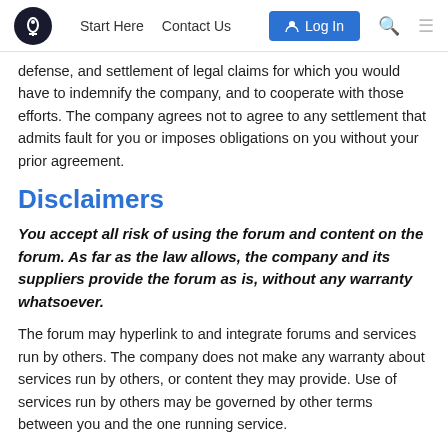Start Here  Contact Us  Log In
defense, and settlement of legal claims for which you would have to indemnify the company, and to cooperate with those efforts. The company agrees not to agree to any settlement that admits fault for you or imposes obligations on you without your prior agreement.
Disclaimers
You accept all risk of using the forum and content on the forum. As far as the law allows, the company and its suppliers provide the forum as is, without any warranty whatsoever.
The forum may hyperlink to and integrate forums and services run by others. The company does not make any warranty about services run by others, or content they may provide. Use of services run by others may be governed by other terms between you and the one running service.
Limits on Liability